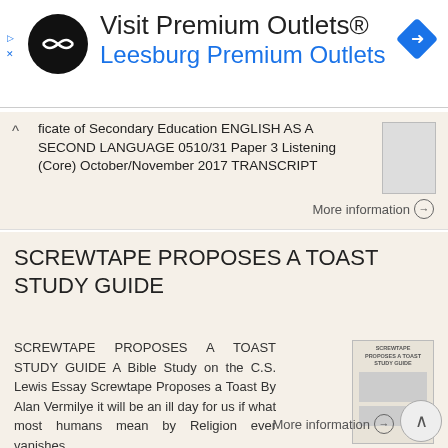[Figure (infographic): Ad banner for Visit Premium Outlets® Leesburg Premium Outlets with logo and navigation icon]
ficate of Secondary Education ENGLISH AS A SECOND LANGUAGE 0510/31 Paper 3 Listening (Core) October/November 2017 TRANSCRIPT
More information →
SCREWTAPE PROPOSES A TOAST STUDY GUIDE
SCREWTAPE PROPOSES A TOAST STUDY GUIDE A Bible Study on the C.S. Lewis Essay Screwtape Proposes a Toast By Alan Vermilye it will be an ill day for us if what most humans mean by Religion ever vanishes
More information →